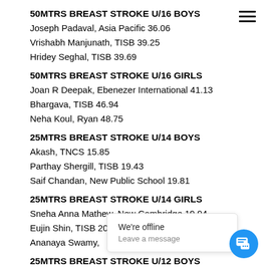50MTRS BREAST STROKE U/16 BOYS
Joseph Padaval, Asia Pacific 36.06
Vrishabh Manjunath, TISB 39.25
Hridey Seghal, TISB 39.69
50MTRS BREAST STROKE U/16 GIRLS
Joan R Deepak, Ebenezer International 41.13
Bhargava, TISB 46.94
Neha Koul, Ryan 48.75
25MTRS BREAST STROKE U/14 BOYS
Akash, TNCS 15.85
Parthay Shergill, TISB 19.43
Saif Chandan, New Public School 19.81
25MTRS BREAST STROKE U/14 GIRLS
Sneha Anna Mathew, New Cambridge 19.94
Eujin Shin, TISB 20.11
Ananaya Swamy, ...
25MTRS BREAST STROKE U/12 BOYS